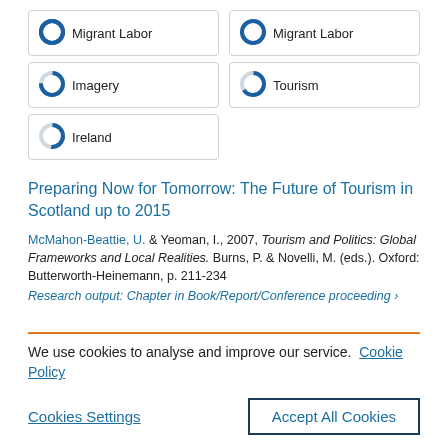Migrant Labor
Migrant Labor
Imagery
Tourism
Ireland
Preparing Now for Tomorrow: The Future of Tourism in Scotland up to 2015
McMahon-Beattie, U. & Yeoman, I., 2007, Tourism and Politics: Global Frameworks and Local Realities. Burns, P. & Novelli, M. (eds.). Oxford: Butterworth-Heinemann, p. 211-234
Research output: Chapter in Book/Report/Conference proceeding ›
We use cookies to analyse and improve our service.  Cookie Policy
Cookies Settings
Accept All Cookies